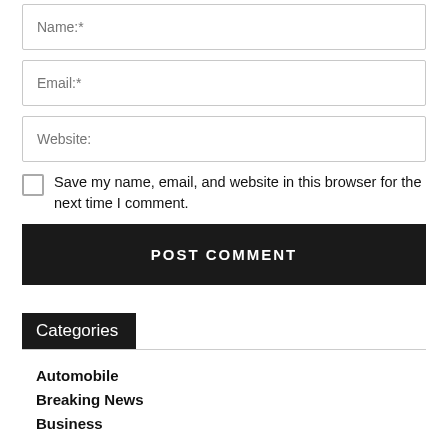Name:*
Email:*
Website:
Save my name, email, and website in this browser for the next time I comment.
POST COMMENT
Categories
Automobile
Breaking News
Business